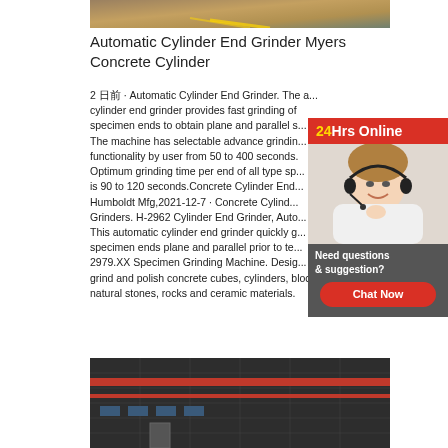[Figure (photo): Top image showing what appears to be a warehouse or industrial floor with yellow markings]
Automatic Cylinder End Grinder Myers Concrete Cylinder
2 日前 · Automatic Cylinder End Grinder. The automatic cylinder end grinder provides fast grinding of concrete specimen ends to obtain plane and parallel s... The machine has selectable advance grinding functionality by user from 50 to 400 seconds. Optimum grinding time per end of all type sp... is 90 to 120 seconds.Concrete Cylinder End ... Humboldt Mfg,2021-12-7 · Concrete Cylinder End Grinders. H-2962 Cylinder End Grinder, Auto... This automatic cylinder end grinder quickly g... specimen ends plane and parallel prior to te... 2979.XX Specimen Grinding Machine. Designed to grind and polish concrete cubes, cylinders, blocks, natural stones, rocks and ceramic materials.
[Figure (photo): Chat widget showing a woman with a headset and '24Hrs Online' banner with 'Need questions & suggestion?' and 'Chat Now' button]
[Figure (photo): Bottom image showing a dark industrial building exterior with red horizontal stripes and windows]